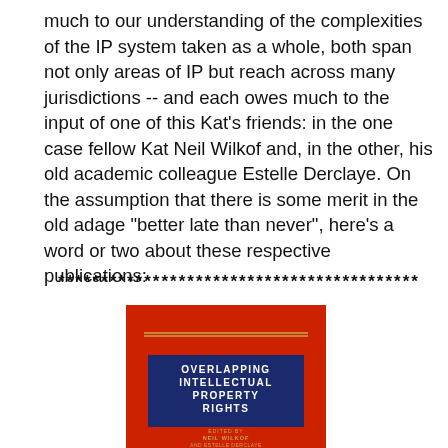much to our understanding of the complexities of the IP system taken as a whole, both span not only areas of IP but reach across many jurisdictions -- and each owes much to the input of one of this Kat's friends: in the one case fellow Kat Neil Wilkof and, in the other, his old academic colleague Estelle Derclaye. On the assumption that there is some merit in the old adage "better late than never", here's a word or two about these respective publications:
******************************************
[Figure (photo): Book cover of 'Overlapping Intellectual Property Rights' edited by Neil Wilkof. Red cover with a gold horizontal line near the top and a dark navy blue rectangle in the center containing the title text in white bold letters. Author name shown below in gold text.]